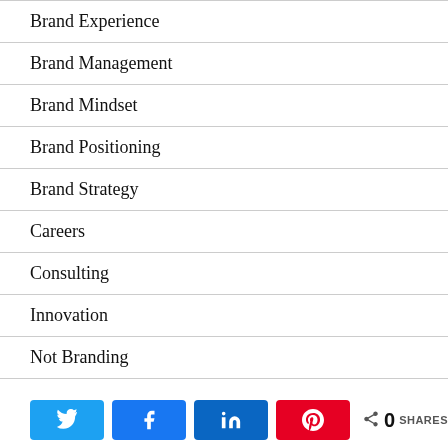Brand Experience
Brand Management
Brand Mindset
Brand Positioning
Brand Strategy
Careers
Consulting
Innovation
Not Branding
Uncategorized